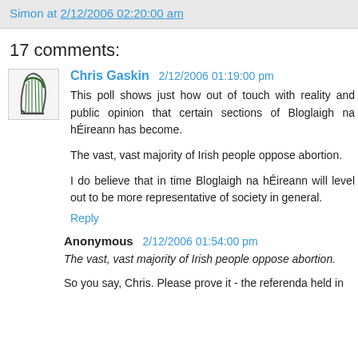Simon at 2/12/2006 02:20:00 am
17 comments:
Chris Gaskin 2/12/2006 01:19:00 pm
This poll shows just how out of touch with reality and public opinion that certain sections of Bloglaigh na hÉireann has become.

The vast, vast majority of Irish people oppose abortion.

I do believe that in time Bloglaigh na hÉireann will level out to be more representative of society in general.

Reply
Anonymous 2/12/2006 01:54:00 pm
The vast, vast majority of Irish people oppose abortion.
So you say, Chris. Please prove it - the referenda held in